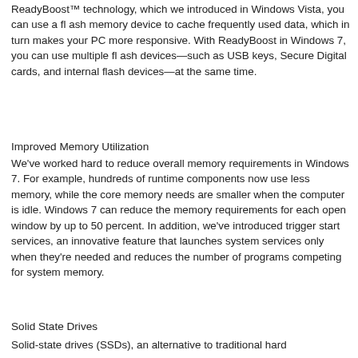ReadyBoost™ technology, which we introduced in Windows Vista, you can use a flash memory device to cache frequently used data, which in turn makes your PC more responsive. With ReadyBoost in Windows 7, you can use multiple flash devices—such as USB keys, Secure Digital cards, and internal flash devices—at the same time.
Improved Memory Utilization
We've worked hard to reduce overall memory requirements in Windows 7. For example, hundreds of runtime components now use less memory, while the core memory needs are smaller when the computer is idle. Windows 7 can reduce the memory requirements for each open window by up to 50 percent. In addition, we've introduced trigger start services, an innovative feature that launches system services only when they're needed and reduces the number of programs competing for system memory.
Solid State Drives
Solid-state drives (SSDs), an alternative to traditional hard